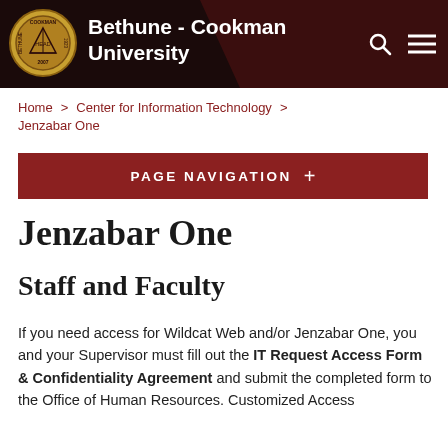Bethune - Cookman University
Home > Center for Information Technology > Jenzabar One
PAGE NAVIGATION +
Jenzabar One
Staff and Faculty
If you need access for Wildcat Web and/or Jenzabar One, you and your Supervisor must fill out the IT Request Access Form & Confidentiality Agreement and submit the completed form to the Office of Human Resources. Customized Access